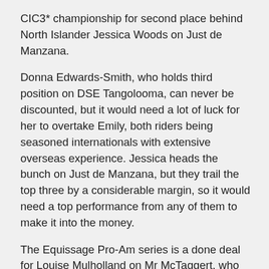CIC3* championship for second place behind North Islander Jessica Woods on Just de Manzana.
Donna Edwards-Smith, who holds third position on DSE Tangolooma, can never be discounted, but it would need a lot of luck for her to overtake Emily, both riders being seasoned internationals with extensive overseas experience. Jessica heads the bunch on Just de Manzana, but they trail the top three by a considerable margin, so it would need a top performance from any of them to make it into the money.
The Equissage Pro-Am series is a done deal for Louise Mulholland on Mr McTaggert, who campaigns from Taumarunui, but runner up Holly Rose, who lives in Taupo, will need to be on her game with Pampero to hold out Tayla Mason and Centennial, from Waikanae, who are making a late run.